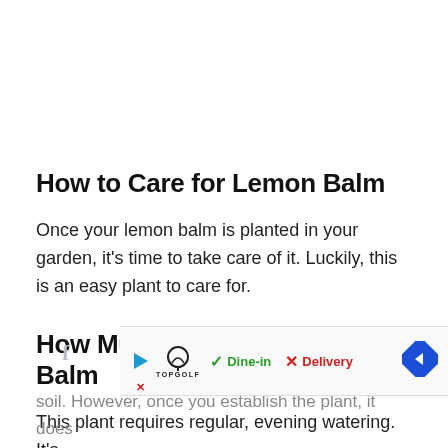How to Care for Lemon Balm
Once your lemon balm is planted in your garden, it’s time to take care of it. Luckily, this is an easy plant to care for.
How Much to Water Lemon Balm
This plant requires regular, evening watering. It’s
[Figure (screenshot): Advertisement banner for TopGolf showing Dine-in with green checkmark and Delivery with red X, plus navigation arrow icon]
soil. However, once you establish the plant, it does